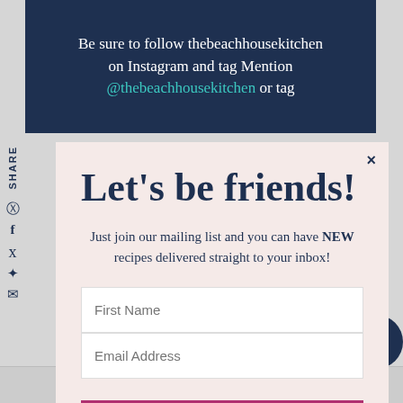Be sure to follow thebeachhousekitchen on Instagram and tag Mention @thebeachhousekitchen or tag
Let's be friends!
Just join our mailing list and you can have NEW recipes delivered straight to your inbox!
First Name
Email Address
SUBSCRIBE